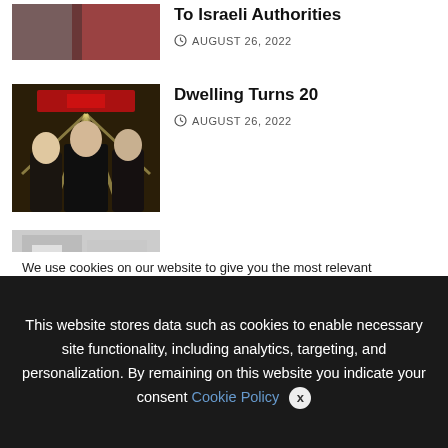[Figure (photo): Two women in red and dark clothing - partial view at top]
To Israeli Authorities
AUGUST 26, 2022
[Figure (photo): Three women in black dresses standing in front of a building with a red sign]
Dwelling Turns 20
AUGUST 26, 2022
[Figure (photo): Partial image of a building, light colored]
We use cookies on our website to give you the most relevant experience by remembering your preferences and repeat visits. By clicking “Accept All”, you consent to the use of ALL the controlled consent.
This website stores data such as cookies to enable necessary site functionality, including analytics, targeting, and personalization. By remaining on this website you indicate your consent Cookie Policy